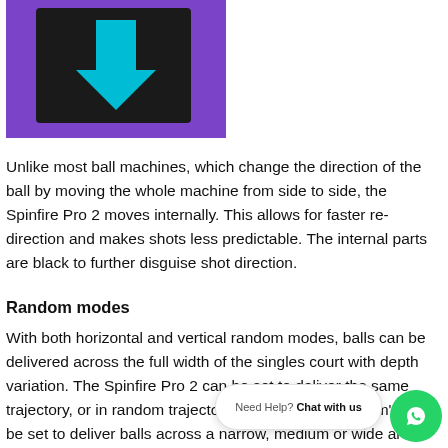[Figure (photo): Purple ball machine (Spinfire Pro 2) with a black interior section and a cyan/blue downward arrow indicating the internal direction mechanism]
Unlike most ball machines, which change the direction of the ball by moving the whole machine from side to side, the Spinfire Pro 2 moves internally. This allows for faster re-direction and makes shots less predictable. The internal parts are black to further disguise shot direction.
Random modes
With both horizontal and vertical random modes, balls can be delivered across the full width of the singles court with depth variation. The Spinfire Pro 2 can be set to deliver the same trajectory, or in random trajectories. 'Horizontal Random' can be set to deliver balls across a narrow, medium or wide area